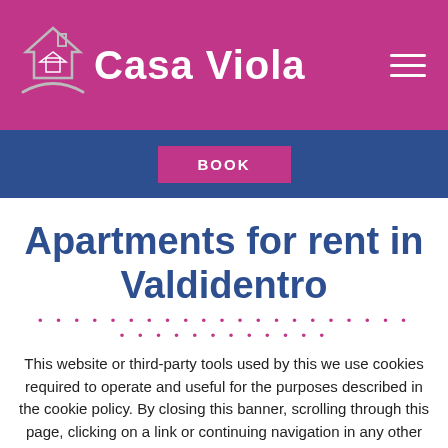Casa Viola
BOOK
Apartments for rent in Valdidentro
This website or third-party tools used by this we use cookies required to operate and useful for the purposes described in the cookie policy. By closing this banner, scrolling through this page, clicking on a link or continuing navigation in any other way, you consent to the use of cookies. Read more Close